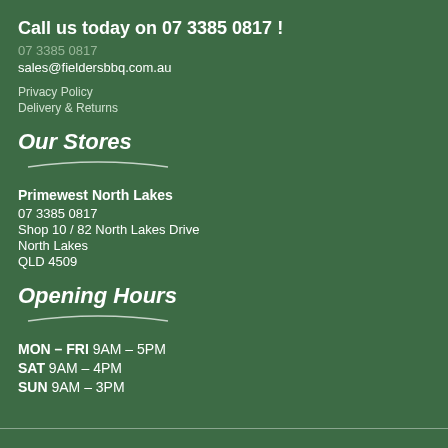Call us today on 07 3385 0817 !
07 3385 0817
sales@fieldersbbq.com.au
Privacy Policy
Delivery & Returns
Our Stores
Primewest North Lakes
07 3385 0817
Shop 10 / 82 North Lakes Drive
North Lakes
QLD 4509
Opening Hours
MON – FRI 9AM – 5PM
SAT 9AM – 4PM
SUN 9AM – 3PM